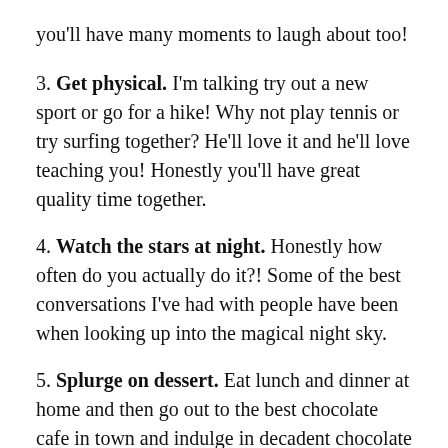you'll have many moments to laugh about too!
3. Get physical. I'm talking try out a new sport or go for a hike! Why not play tennis or try surfing together? He'll love it and he'll love teaching you! Honestly you'll have great quality time together.
4. Watch the stars at night. Honestly how often do you actually do it?! Some of the best conversations I've had with people have been when looking up into the magical night sky.
5. Splurge on dessert. Eat lunch and dinner at home and then go out to the best chocolate cafe in town and indulge in decadent chocolate brownies and cakes mmm. It will sure put a smile on both your faces.
6. Write some love notes. Hide cute love notes